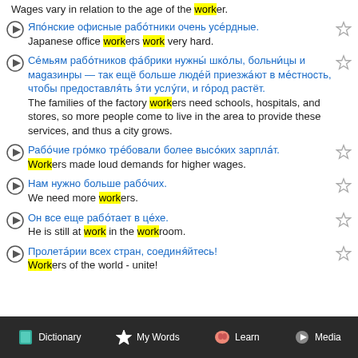Wages vary in relation to the age of the worker.
Японские офисные работники очень усердные. / Japanese office workers work very hard.
Семьям работников фабрики нужны школы, больницы и магазины — так ещё больше людей приезжают в местность, чтобы предоставлять эти услуги, и город растёт. / The families of the factory workers need schools, hospitals, and stores, so more people come to live in the area to provide these services, and thus a city grows.
Рабочие громко требовали более высоких зарплат. / Workers made loud demands for higher wages.
Нам нужно больше рабочих. / We need more workers.
Он все еще работает в цехе. / He is still at work in the workroom.
Пролетарии всех стран, соединяйтесь! / Workers of the world - unite!
Dictionary  My Words  Learn  Media